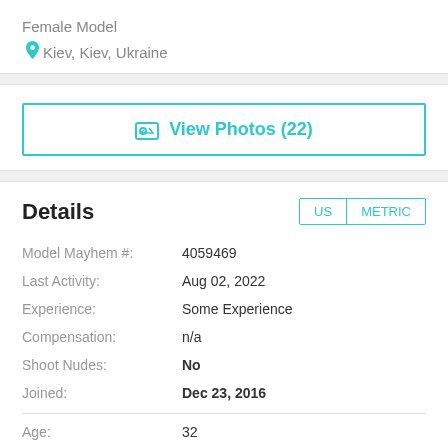Female Model
Kiev, Kiev, Ukraine
View Photos (22)
Details
| Field | Value |
| --- | --- |
| Model Mayhem #: | 4059469 |
| Last Activity: | Aug 02, 2022 |
| Experience: | Some Experience |
| Compensation: | n/a |
| Shoot Nudes: | No |
| Joined: | Dec 23, 2016 |
| Age: | 32 |